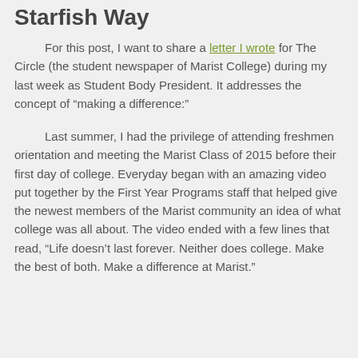Starfish Way
For this post, I want to share a letter I wrote for The Circle (the student newspaper of Marist College) during my last week as Student Body President. It addresses the concept of “making a difference:”
Last summer, I had the privilege of attending freshmen orientation and meeting the Marist Class of 2015 before their first day of college. Everyday began with an amazing video put together by the First Year Programs staff that helped give the newest members of the Marist community an idea of what college was all about. The video ended with a few lines that read, “Life doesn’t last forever. Neither does college. Make the best of both. Make a difference at Marist.”